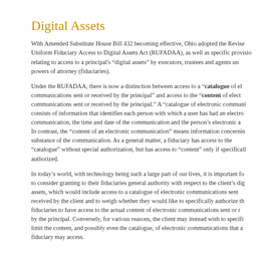Digital Assets
With Amended Substitute House Bill 432 becoming effective, Ohio adopted the Revised Uniform Fiduciary Access to Digital Assets Act (RUFADAA), as well as specific provisions relating to access to a principal's "digital assets" by executors, trustees and agents under powers of attorney (fiduciaries).
Under the RUFADAA, there is now a distinction between access to a "catalogue of electronic communications sent or received by the principal" and access to the "content of electronic communications sent or received by the principal." A "catalogue of electronic communications" consists of information that identifies each person with which a user has had an electronic communication, the time and date of the communication and the person's electronic address. In contrast, the "content of an electronic communication" means information concerning the substance of the communication. As a general matter, a fiduciary has access to the "catalogue" without special authorization, but has access to "content" only if specifically authorized.
In today's world, with technology being such a large part of our lives, it is important for clients to consider granting to their fiduciaries general authority with respect to the client's digital assets, which would include access to a catalogue of electronic communications sent or received by the client and to weigh whether they would like to specifically authorize their fiduciaries to have access to the actual content of electronic communications sent or received by the principal. Conversely, for various reasons, the client may instead wish to specifically limit the content, and possibly even the catalogue, of electronic communications that a fiduciary may access.